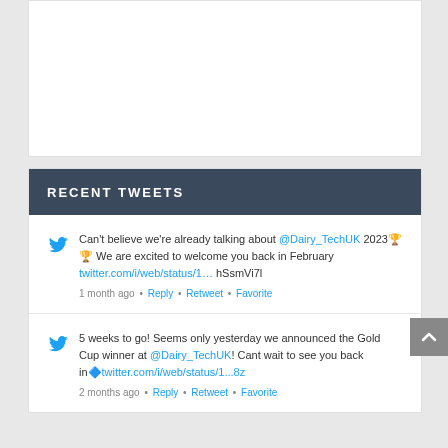[Figure (other): White content box at top of page (partially visible, no visible content)]
RECENT TWEETS
Can't believe we're already talking about @Dairy_TechUK 2023🏆 We are excited to welcome you back in February twitter.com/i/web/status/1… hSsmVi7l
1 month ago • Reply • Retweet • Favorite
5 weeks to go! Seems only yesterday we announced the Gold Cup winner at @Dairy_TechUK! Cant wait to see you back in🔷twitter.com/i/web/status/1...8z
2 months ago • Reply • Retweet • Favorite